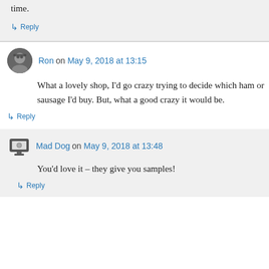time.
↳ Reply
Ron on May 9, 2018 at 13:15
What a lovely shop, I'd go crazy trying to decide which ham or sausage I'd buy. But, what a good crazy it would be.
↳ Reply
Mad Dog on May 9, 2018 at 13:48
You'd love it – they give you samples!
↳ Reply